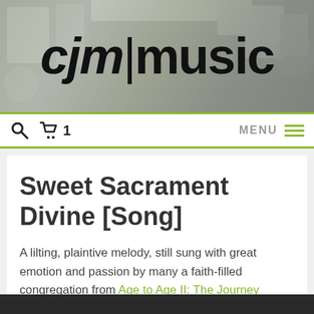[Figure (logo): cjm|music logo on decorative background banner]
Search | Cart 1 | MENU
Sweet Sacrament Divine [Song]
A lilting, plaintive melody, still sung with great emotion and passion by many a faith-filled congregation from Age to Age II: The Journey Continues.